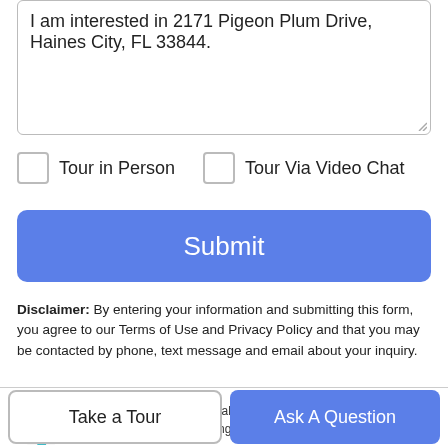I am interested in 2171 Pigeon Plum Drive, Haines City, FL 33844.
Tour in Person
Tour Via Video Chat
Submit
Disclaimer: By entering your information and submitting this form, you agree to our Terms of Use and Privacy Policy and that you may be contacted by phone, text message and email about your inquiry.
[Figure (logo): Stellar MLS logo - purple and teal leaf/flower shape]
© 2022 My Florida Regional MLS DBA Stellar MLS. All rights reserved. All listings displayed pursuant to
Take a Tour
Ask A Question